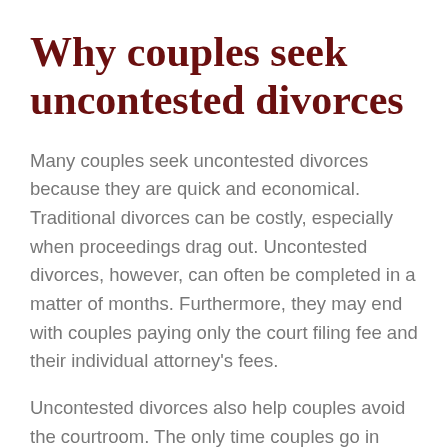Why couples seek uncontested divorces
Many couples seek uncontested divorces because they are quick and economical. Traditional divorces can be costly, especially when proceedings drag out. Uncontested divorces, however, can often be completed in a matter of months. Furthermore, they may end with couples paying only the court filing fee and their individual attorney's fees.
Uncontested divorces also help couples avoid the courtroom. The only time couples go in front of a judge during one is to have their marital settlement agreement approved.